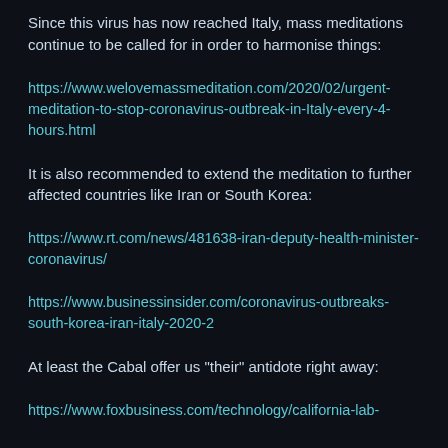Since this virus has now reached Italy, mass meditations continue to be called for in order to harmonise things:
https://www.welovemassmeditation.com/2020/02/urgent-meditation-to-stop-coronavirus-outbreak-in-Italy-every-4-hours.html
It is also recommended to extend the meditation to further affected countries like Iran or South Korea:
https://www.rt.com/news/481638-iran-deputy-health-minister-coronavirus/
https://www.businessinsider.com/coronavirus-outbreaks-south-korea-iran-italy-2020-2
At least the Cabal offer us "their" antidote right away:
https://www.foxbusiness.com/technology/california-lab-